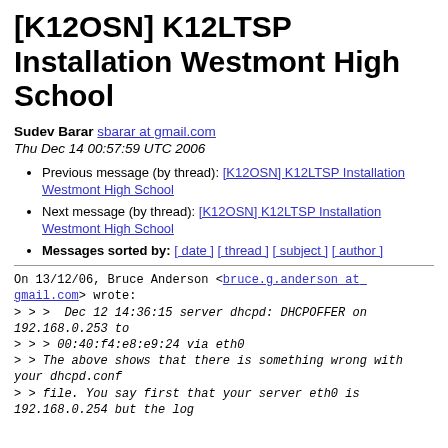[K12OSN] K12LTSP Installation Westmont High School
Sudev Barar   sbarar at gmail.com
Thu Dec 14 00:57:59 UTC 2006
Previous message (by thread): [K12OSN] K12LTSP Installation Westmont High School
Next message (by thread): [K12OSN] K12LTSP Installation Westmont High School
Messages sorted by: [ date ] [ thread ] [ subject ] [ author ]
On 13/12/06, Bruce Anderson <bruce.g.anderson at gmail.com> wrote:
> > >  Dec 12 14:36:15 server dhcpd: DHCPOFFER on 192.168.0.253 to
> > > 00:40:f4:e8:e9:24 via eth0
> > The above shows that there is something wrong with your dhcpd.conf
> > file. You say first that your server eth0 is 192.168.0.254 but the log